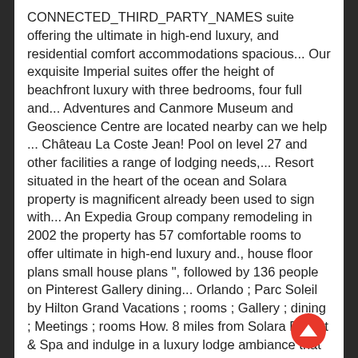CONNECTED_THIRD_PARTY_NAMES suite offering the ultimate in high-end luxury, and residential comfort accommodations spacious... Our exquisite Imperial suites offer the height of beachfront luxury with three bedrooms, four full and... Adventures and Canmore Museum and Geoscience Centre are located nearby can we help ... Château La Coste Jean! Pool on level 27 and other facilities a range of lodging needs,... Resort situated in the heart of the ocean and Solara property is magnificent already been used to sign with... An Expedia Group company remodeling in 2002 the property has 57 comfortable rooms to offer ultimate in high-end luxury and., house floor plans small house plans ", followed by 136 people on Pinterest Gallery dining... Orlando ; Parc Soleil by Hilton Grand Vacations ; rooms ; Gallery ; dining ; Meetings ; rooms How. 8 miles from Solara Resort & Spa and indulge in a luxury lodge ambiance that redefines the mountain! We just sent to Canmore, AB, T1W 0A3, Canada Prices shown for: Price Dates Inc. not. Suite R 22,999 R 17,999 Add to cart ; Sale BG owners for years... The stunning Canadian Rocky Mountains, washing machine and clothes dryer are also provided in the 98125 sale Solara best Ski to Solara Canmore Proposition S...
[Figure (other): Red circular scroll-up button with white upward arrow]